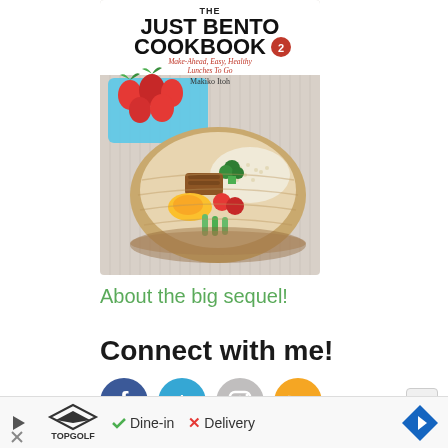[Figure (photo): Book cover of 'The Just Bento Cookbook 2: Make-Ahead, Easy, Healthy Lunches To Go' by Makiko Itoh, showing a wooden bento box filled with food and a blue container with strawberries]
About the big sequel!
Connect with me!
[Figure (other): Social media icons: Facebook (blue circle with f), Tumblr (cyan circle with t), Instagram (gray circle with camera), RSS (orange circle with RSS symbol)]
[Figure (other): Advertisement bar: Topgolf logo with play button, checkmark Dine-in, X Delivery, navigation arrow icon]